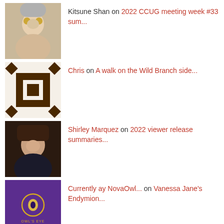Kitsune Shan on 2022 CCUG meeting week #33 sum...
Chris on A walk on the Wild Branch side...
Shirley Marquez on 2022 viewer release summaries...
Currently ay NovaOwl... on Vanessa Jane's Endymion...
Owl D. on Vanessa Jane's Endymion...
TOP POSTS
The Loving Dominant
Finding Space Part 1: Subspace
The "Ten Rules" of D/s